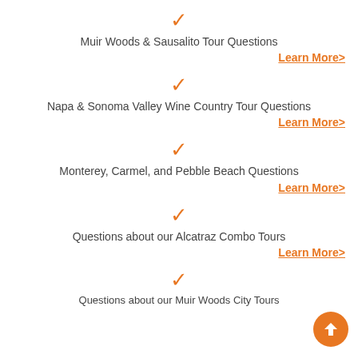Muir Woods & Sausalito Tour Questions
Learn More>
Napa & Sonoma Valley Wine Country Tour Questions
Learn More>
Monterey, Carmel, and Pebble Beach Questions
Learn More>
Questions about our Alcatraz Combo Tours
Learn More>
Questions about our Muir Woods City Tours